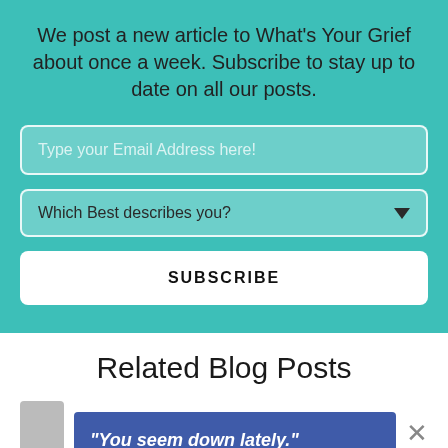We post a new article to What's Your Grief about once a week. Subscribe to stay up to date on all our posts.
Type your Email Address here!
Which Best describes you?
SUBSCRIBE
Related Blog Posts
[Figure (screenshot): Blog post thumbnail with blue banner reading: "You seem down lately."]